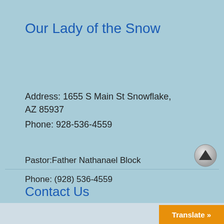Our Lady of the Snow
Address: 1655 S Main St Snowflake, AZ 85937
Phone: 928-536-4559
Contact Us
Pastor:Father Nathanael Block
Phone: (928) 536-4559
Translate »